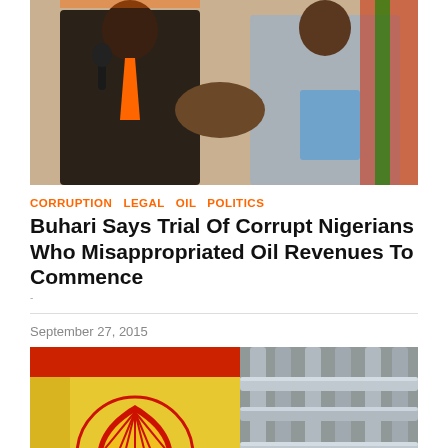[Figure (photo): Two men shaking hands at an event, one in a dark suit and one in a light grey traditional outfit, with flags visible in the background]
CORRUPTION  LEGAL  OIL  POLITICS
Buhari Says Trial Of Corrupt Nigerians Who Misappropriated Oil Revenues To Commence
-
September 27, 2015
[Figure (photo): Shell oil canister on the left showing the Shell logo, and industrial pipes/refinery infrastructure on the right]